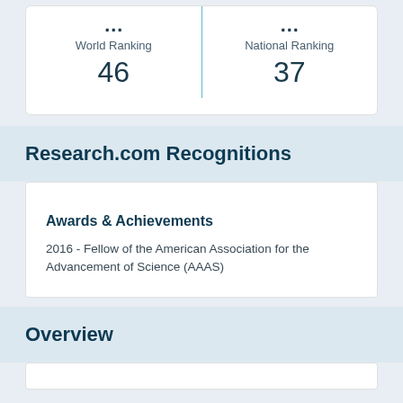| World Ranking | National Ranking |
| --- | --- |
| 46 | 37 |
Research.com Recognitions
Awards & Achievements
2016 - Fellow of the American Association for the Advancement of Science (AAAS)
Overview